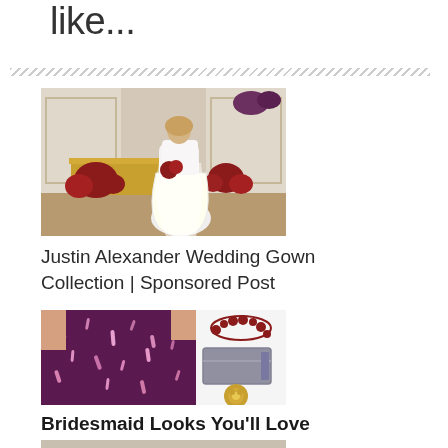like...
[Figure (photo): Bride in a white wedding gown holding red flowers, standing in an elegant room with a gold piano and red floral arrangements]
Justin Alexander Wedding Gown Collection | Sponsored Post
[Figure (photo): Collage showing a purple sequined bridesmaid dress, a red jeweled collar necklace, a gray metallic clutch purse, and a gold ring]
Bridesmaid Looks You'll Love